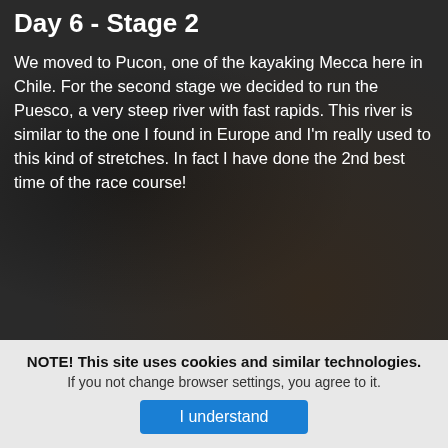Day 6 - Stage 2
We moved to Pucon, one of the kayaking Mecca here in Chile. For the second stage we decided to run the Puesco, a very steep river with fast rapids. This river is similar to the one I found in Europe and I'm really used to this kind of stretches. In fact I have done the 2nd best time of the race course!
NOTE! This site uses cookies and similar technologies. If you not change browser settings, you agree to it.
I understand